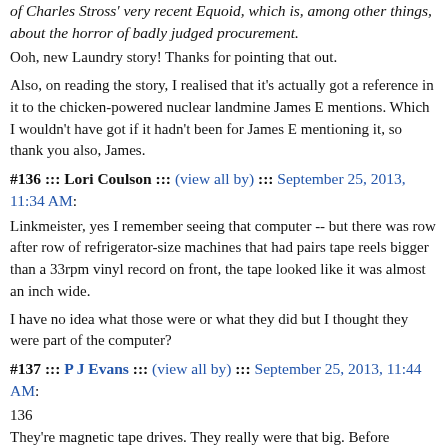of Charles Stross' very recent Equoid, which is, among other things, about the horror of badly judged procurement.
Ooh, new Laundry story! Thanks for pointing that out.
Also, on reading the story, I realised that it's actually got a reference in it to the chicken-powered nuclear landmine James E mentions. Which I wouldn't have got if it hadn't been for James E mentioning it, so thank you also, James.
#136 ::: Lori Coulson ::: (view all by) ::: September 25, 2013, 11:34 AM:
Linkmeister, yes I remember seeing that computer -- but there was row after row of refrigerator-size machines that had pairs tape reels bigger than a 33rpm vinyl record on front, the tape looked like it was almost an inch wide.
I have no idea what those were or what they did but I thought they were part of the computer?
#137 ::: P J Evans ::: (view all by) ::: September 25, 2013, 11:44 AM:
136
They're magnetic tape drives. They really were that big. Before